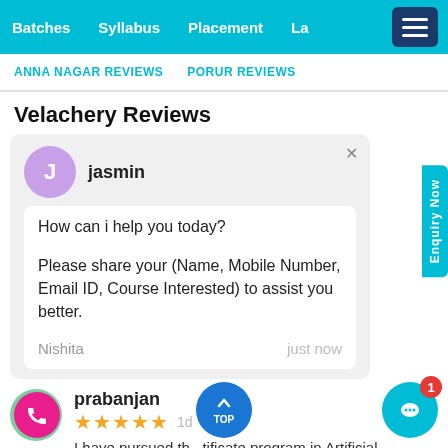Batches   Syllabus   Placement   La...
ANNA NAGAR REVIEWS   PORUR REVIEWS
Velachery Reviews
jasmin
How can i help you today?

Please share your (Name, Mobile Number, Email ID, Course Interested) to assist you better.
Nishita   just now
prabanjan
★★★★★  1d
I have pursued the certificate program in Artificial Intelligence training from ACTE institute